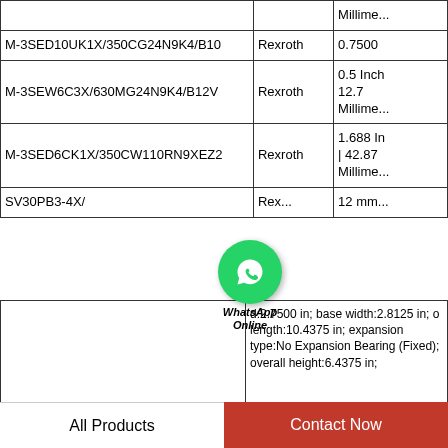| Part Number | Brand | Size |
| --- | --- | --- |
|  |  | Millime... |
| M-3SED10UK1X/350CG24N9K4/B10 | Rexroth | 0.7500 |
| M-3SEW6C3X/630MG24N9K4/B12V | Rexroth | 0.5 Inch | 12.7 Millime... |
| M-3SED6CK1X/350CW110RN9XEZ2 | Rexroth | 1.688 In | 42.87 Millime... |
| SV30PB3-4X/ | Rexroth | 12 mm... |
[Figure (logo): WhatsApp Online icon with green circular logo and text 'WhatsApp Online']
| Image | Description |
| --- | --- |
|  | d:2.7500 in; base width:2.8125 in; o length:10.4375 in; expansion type:No Expansion Bearing (Fixed); overall height:6.4375 in; |
All Products
Contact Now